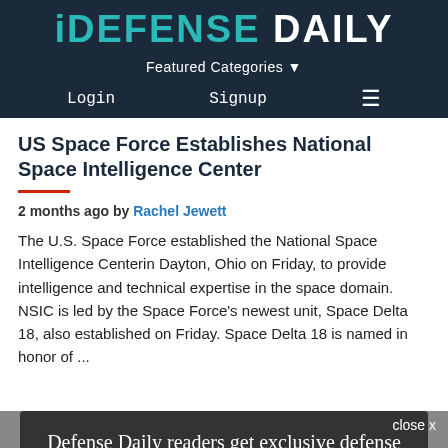DEFENSE DAILY
Featured Categories
Login | Signup | Menu
US Space Force Establishes National Space Intelligence Center
2 months ago by Rachel Jewett
The U.S. Space Force established the National Space Intelligence Centerin Dayton, Ohio on Friday, to provide intelligence and technical expertise in the space domain. NSIC is led by the Space Force’s newest unit, Space Delta 18, also established on Friday. Space Delta 18 is named in honor of …
close x
Defense Daily readers get exclusive defense industry news–every business day.
Subscribe Here